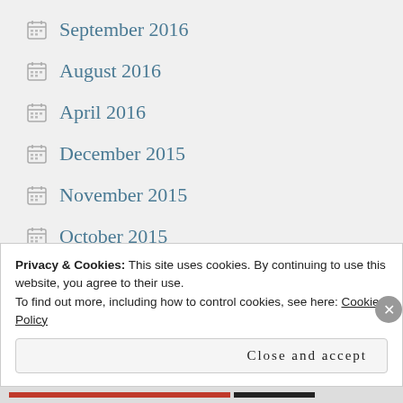September 2016
August 2016
April 2016
December 2015
November 2015
October 2015
July 2015
June 2015
May 2015
Privacy & Cookies: This site uses cookies. By continuing to use this website, you agree to their use.
To find out more, including how to control cookies, see here: Cookie Policy
Close and accept